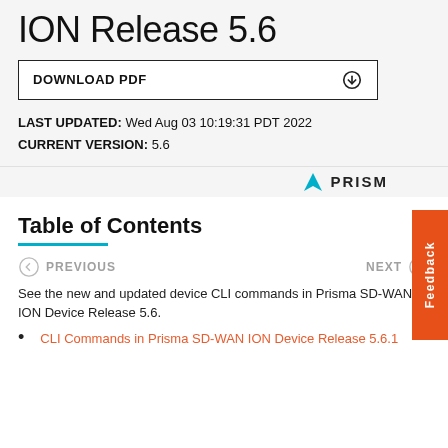ION Release 5.6
DOWNLOAD PDF
LAST UPDATED: Wed Aug 03 10:19:31 PDT 2022
CURRENT VERSION: 5.6
Table of Contents
PREVIOUS    NEXT
See the new and updated device CLI commands in Prisma SD-WAN ION Device Release 5.6.
CLI Commands in Prisma SD-WAN ION Device Release 5.6.1